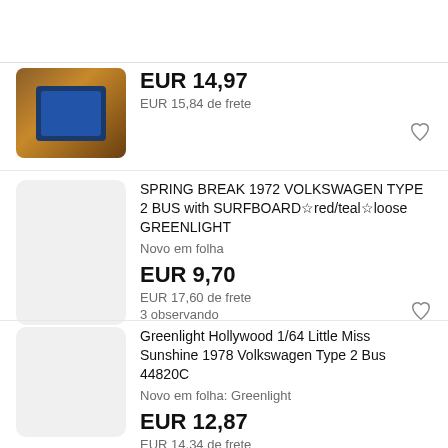[Figure (photo): Product thumbnail showing a dark blue card/blister pack on a brown wooden surface]
EUR 14,97
EUR 15,84 de frete
SPRING BREAK 1972 VOLKSWAGEN TYPE 2 BUS with SURFBOARD☆red/teal☆loose GREENLIGHT
Novo em folha
EUR 9,70
EUR 17,60 de frete
3 observando
Greenlight Hollywood 1/64 Little Miss Sunshine 1978 Volkswagen Type 2 Bus 44820C
Novo em folha: Greenlight
EUR 12,87
EUR 14,34 de frete